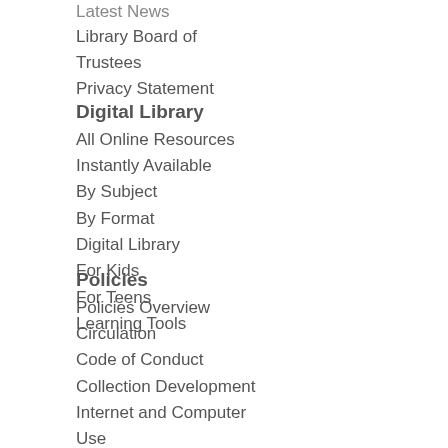Latest News
Library Board of Trustees
Privacy Statement
Digital Library
All Online Resources
Instantly Available
By Subject
By Format
Digital Library
For Kids
For Teens
Learning Tools
Policies
Policies Overview
Circulation
Code of Conduct
Collection Development
Internet and Computer Use
Meeting Rooms
Naming